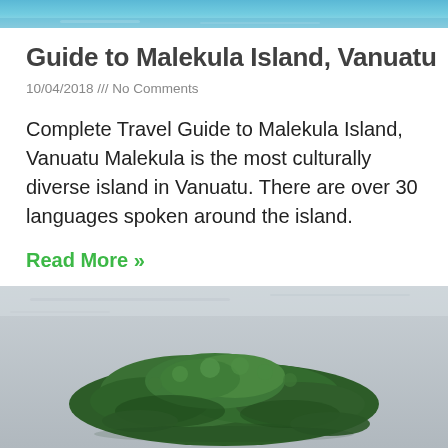[Figure (photo): Partial top strip of a tropical/ocean photo showing blue water and sky]
Guide to Malekula Island, Vanuatu
10/04/2018 /// No Comments
Complete Travel Guide to Malekula Island, Vanuatu Malekula is the most culturally diverse island in Vanuatu. There are over 30 languages spoken around the island.
Read More »
[Figure (photo): Aerial photograph of a lush forested island surrounded by calm grey water]